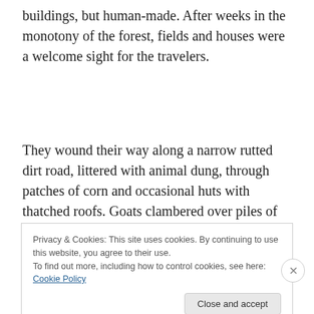buildings, but human-made. After weeks in the monotony of the forest, fields and houses were a welcome sight for the travelers.
They wound their way along a narrow rutted dirt road, littered with animal dung, through patches of corn and occasional huts with thatched roofs. Goats clambered over piles of asphalt and scrap metal. Small naked children
Privacy & Cookies: This site uses cookies. By continuing to use this website, you agree to their use.
To find out more, including how to control cookies, see here: Cookie Policy